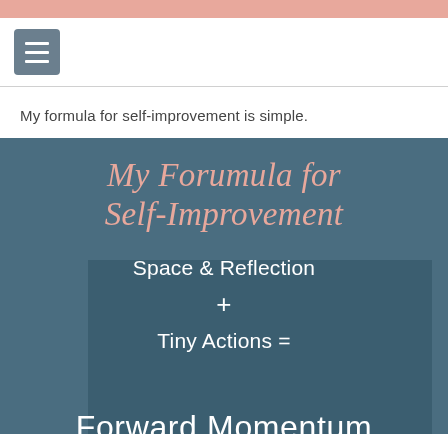[Figure (other): Menu/hamburger button icon in grey square]
My formula for self-improvement is simple.
[Figure (infographic): Dark teal infographic card titled 'My Forumula for Self-Improvement' with formula: Space & Reflection + Tiny Actions = Forward Momentum]